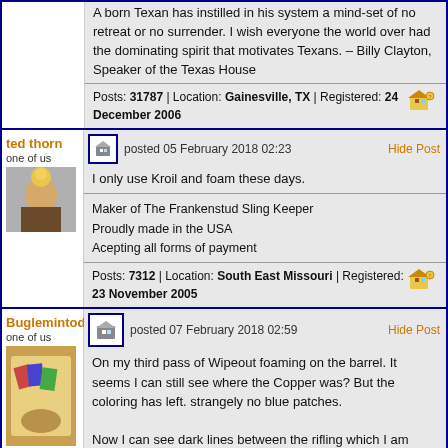A born Texan has instilled in his system a mind-set of no retreat or no surrender. I wish everyone the world over had the dominating spirit that motivates Texans. – Billy Clayton, Speaker of the Texas House
Posts: 31787 | Location: Gainesville, TX | Registered: 24 December 2006
ted thorn
one of us
posted 05 February 2018 02:23
Hide Post
I only use Kroil and foam these days.
Maker of The Frankenstud Sling Keeper
Proudly made in the USA
Acepting all forms of payment
Posts: 7312 | Location: South East Missouri | Registered: 23 November 2005
Buglemintoday
one of us
posted 07 February 2018 02:59
Hide Post
On my third pass of Wipeout foaming on the barrel. It seems I can still see where the Copper was? But the coloring has left. strangely no blue patches.

Now I can see dark lines between the rifling which I am guessing is Carbon fouling.. Probably layers of copper on carbon on copper on carbon? I am tackling the Carbon with KG1 Carbon Remover.

Having fun with this one...I am thinking a few